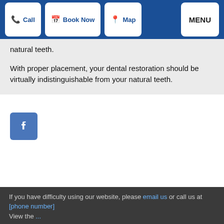Call | Book Now | Map | MENU
natural teeth.

With proper placement, your dental restoration should be virtually indistinguishable from your natural teeth.
[Figure (logo): Facebook logo icon — white 'f' on blue square background]
If you have difficulty using our website, please email us or call us at [phone number]
View the ...